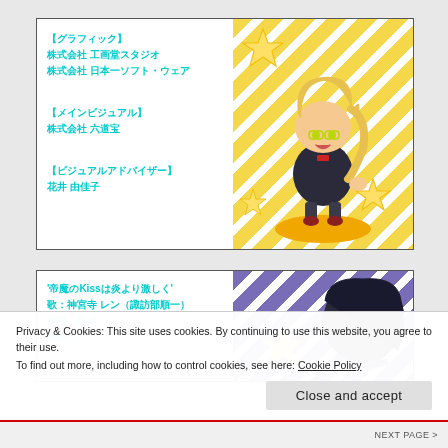[Figure (illustration): Card with Japanese credits text on the left and a chibi anime character (blonde, glasses, dark suit) on a yellow background with stars and diagonal stripes on the right.]
【グラフィック】
株式会社 工画堂スタジオ
株式会社 日本一ソフト・ウェア

【メインビジュアル】
株式会社 六道宝

【ビジュアルアドバイザー】
花井 由佳子
[Figure (illustration): Card with Japanese song credits on the left and a chibi anime character with dark hair on a purple/violet background with stars and diagonal stripes on the right.]
'帝魔のKissは炎より激しく'
歌：神宮寺 レン（諏訪部順一）
作詞：Bod'
作曲：…
Privacy & Cookies: This site uses cookies. By continuing to use this website, you agree to their use.
To find out more, including how to control cookies, see here: Cookie Policy
Close and accept